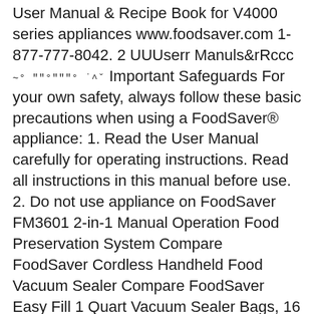User Manual & Recipe Book for V4000 series appliances www.foodsaver.com 1-877-777-8042. 2 UUUserr Manuls&rRccc ~° ″″°″″″° ˙^˘ Important Safeguards For your own safety, always follow these basic precautions when using a FoodSaver® appliance: 1. Read the User Manual carefully for operating instructions. Read all instructions in this manual before use. 2. Do not use appliance on FoodSaver FM3601 2-in-1 Manual Operation Food Preservation System Compare FoodSaver Cordless Handheld Food Vacuum Sealer Compare FoodSaver Easy Fill 1 Quart Vacuum Sealer Bags, 16 Count Compare FoodSaver Easy Fill 1 Gallon Vacuum Sealer Bags, 10 Count Compare